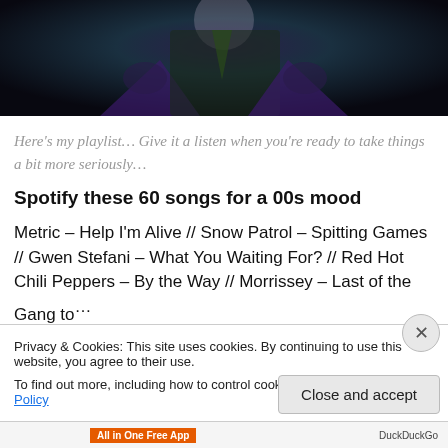[Figure (photo): Dark dramatic photo of a person in a purple suit and green tie, resembling the Joker character, hands visible at chest level against a dark background.]
Here's my playlist… Give it a listen when you're ready to take things a bit more seriously…
Spotify these 60 songs for a 00s mood
Metric – Help I'm Alive // Snow Patrol – Spitting Games // Gwen Stefani – What You Waiting For? // Red Hot Chili Peppers – By the Way // Morrissey – Last of the Gang to…
Privacy & Cookies: This site uses cookies. By continuing to use this website, you agree to their use.
To find out more, including how to control cookies, see here: Cookie Policy